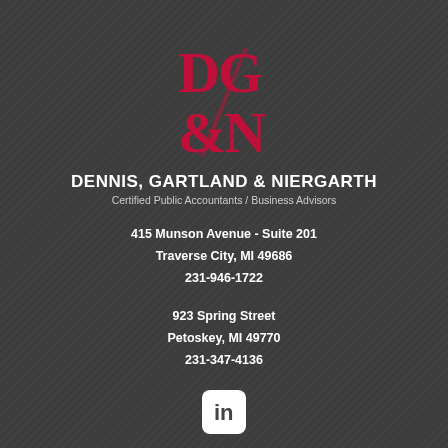[Figure (logo): DG&N logo in red/crimson with stylized letters D, G, ampersand, and N stacked vertically]
DENNIS, GARTLAND & NIERGARTH
Certified Public Accountants / Business Advisors
415 Munson Avenue - Suite 201
Traverse City, MI 49686
231-946-1722
923 Spring Street
Petoskey, MI 49770
231-347-4136
[Figure (logo): LinkedIn icon in white on white rounded square background]
ABOUT